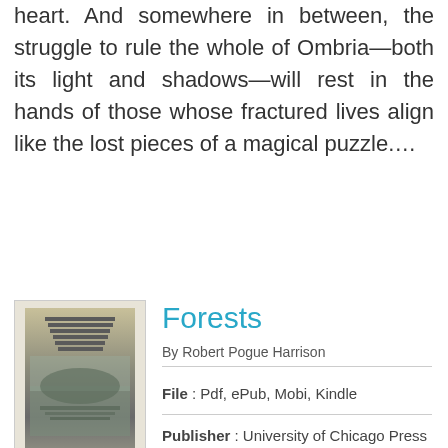heart. And somewhere in between, the struggle to rule the whole of Ombria—both its light and shadows—will rest in the hands of those whose fractured lives align like the lost pieces of a magical puzzle….
Forests
By Robert Pogue Harrison
File : Pdf, ePub, Mobi, Kindle
Publisher : University of Chicago Press
Book Code : 9780226318059
[Figure (illustration): Book cover thumbnail for Forests]
[Figure (other): Green READ PDF button]